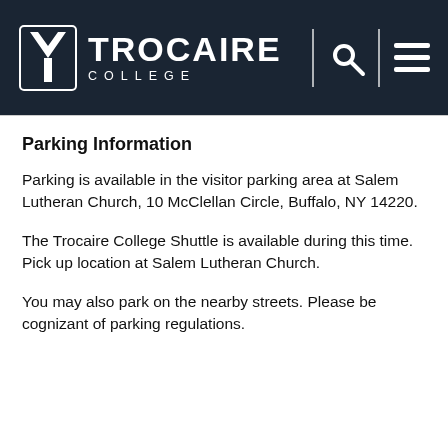[Figure (logo): Trocaire College logo with stylized Y emblem and text TROCAIRE COLLEGE on dark navy background, with search and menu icons on the right]
Parking Information
Parking is available in the visitor parking area at Salem Lutheran Church, 10 McClellan Circle, Buffalo, NY 14220.
The Trocaire College Shuttle is available during this time. Pick up location at Salem Lutheran Church.
You may also park on the nearby streets. Please be cognizant of parking regulations.